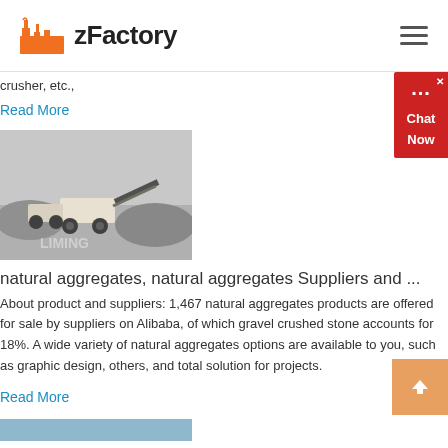zFactory
crusher, etc.,
Read More
[Figure (photo): Industrial mining/crushing machine equipment on a grey rocky terrain with LIMING watermark]
natural aggregates, natural aggregates Suppliers and ...
About product and suppliers: 1,467 natural aggregates products are offered for sale by suppliers on Alibaba, of which gravel crushed stone accounts for 18%. A wide variety of natural aggregates options are available to you, such as graphic design, others, and total solution for projects.
Read More